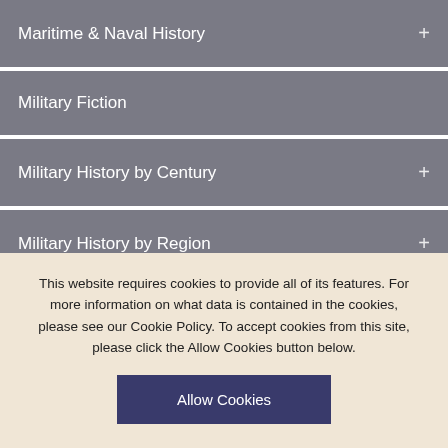Maritime & Naval History
Military Fiction
Military History by Century
Military History by Region
MMP Series
Pen and Sword Series
This website requires cookies to provide all of its features. For more information on what data is contained in the cookies, please see our Cookie Policy. To accept cookies from this site, please click the Allow Cookies button below.
Allow Cookies